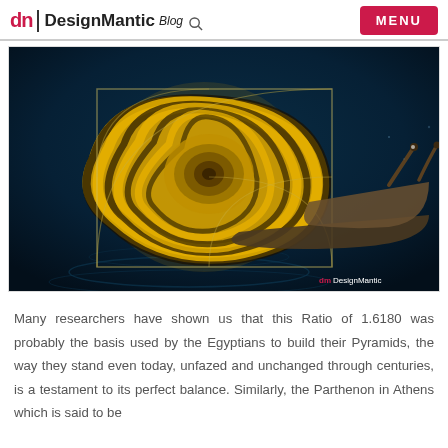dn DesignMantic Blog | MENU
[Figure (photo): A close-up photograph of a snail with a yellow and black striped shell, overlaid with a golden ratio spiral guide. The background is dark blue-teal. A DesignMantic watermark appears in the bottom right corner.]
Many researchers have shown us that this Ratio of 1.6180 was probably the basis used by the Egyptians to build their Pyramids, the way they stand even today, unfazed and unchanged through centuries, is a testament to its perfect balance. Similarly, the Parthenon in Athens which is said to be